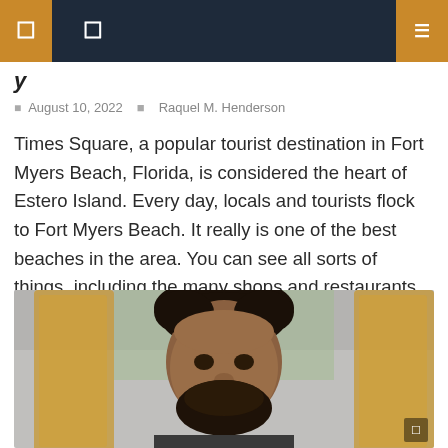Navigation bar with menu icons
y
August 10, 2022   Raquel M. Henderson
Times Square, a popular tourist destination in Fort Myers Beach, Florida, is considered the heart of Estero Island. Every day, locals and tourists flock to Fort Myers Beach. It really is one of the best beaches in the area. You can see all sorts of things, including the many shops and restaurants, street performers, dolphins [...]
[Figure (photo): Portrait photo of a man with dark hair and beard, in front of an ornate gold-framed mirror, indoor setting with greenery visible in background]